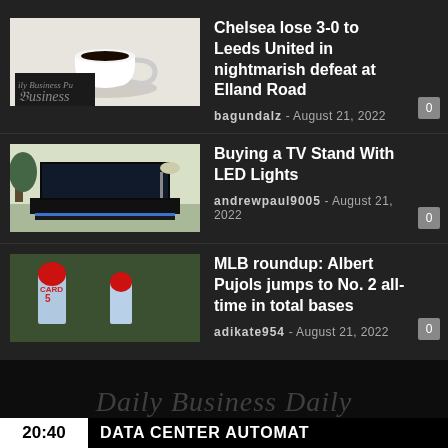Chelsea lose 3-0 to Leeds United in nightmarish defeat at Elland Road — bagundalz - August 21, 2022
Buying a TV Stand With LED Lights — andrewpaul9005 - August 21, 2022
MLB roundup: Albert Pujols jumps to No. 2 all-time in total bases — adikate954 - August 21, 2022
[Figure (screenshot): News feed screenshot with three articles on dark background, plus bottom ticker bar reading 20:40 DATA CENTER AUTOMAT...]